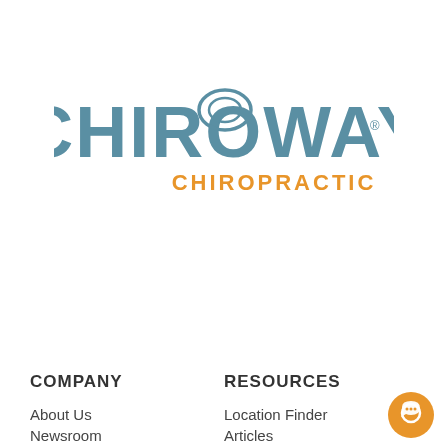[Figure (logo): ChiroWay Chiropractic logo — 'CHIROWAY' in large steel-blue letters with concentric arc over the O, and 'CHIROPRACTIC' in orange below]
COMPANY
RESOURCES
About Us
Location Finder
Newsroom
Articles